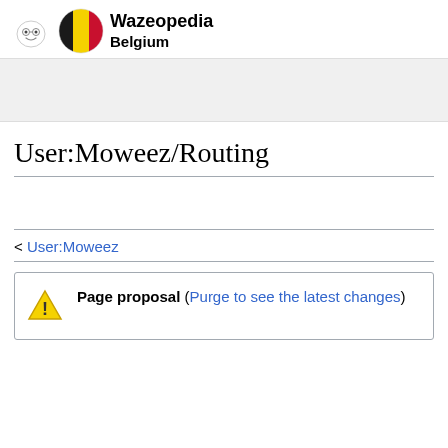[Figure (logo): Wazeopedia logo with Waze character icon and Belgian flag circle]
Wazeopedia
Belgium
[Figure (other): Gray navigation/search bar area]
User:Moweez/Routing
< User:Moweez
Page proposal (Purge to see the latest changes)